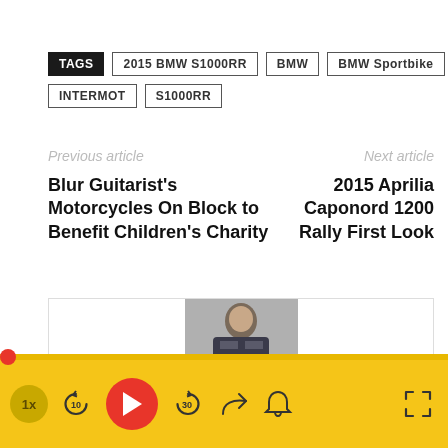TAGS  2015 BMW S1000RR  BMW  BMW Sportbike  INTERMOT  S1000RR
Previous article
Next article
Blur Guitarist's Motorcycles On Block to Benefit Children's Charity
2015 Aprilia Caponord 1200 Rally First Look
[Figure (screenshot): Author profile photo - person in motorcycle gear, partial view]